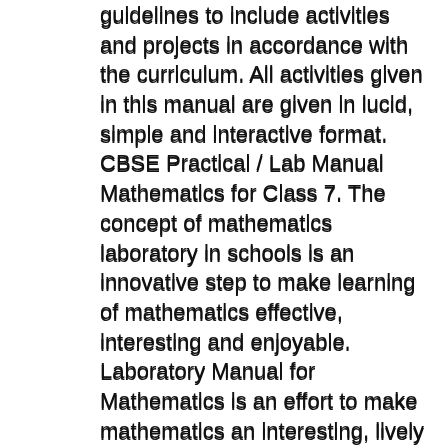guidelines to include activities and projects in accordance with the curriculum. All activities given in this manual are given in lucid, simple and interactive format. CBSE Practical / Lab Manual Mathematics for Class 7. The concept of mathematics laboratory in schools is an innovative step to make learning of mathematics effective, interesting and enjoyable. Laboratory Manual for Mathematics is an effort to make mathematics an interesting, lively and skill-based subject.
Jun 11, 2016B B· CBSE Practicals for Class 9 Science Lab Manual Work SA-I List of Experiments to be performed for Summative Assessment -I during